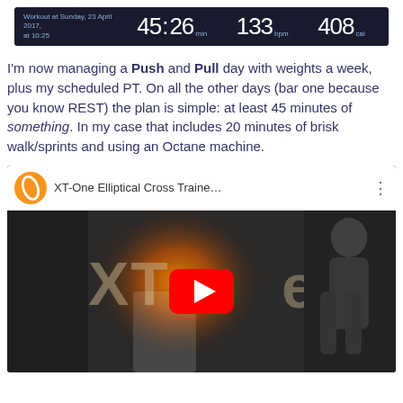[Figure (screenshot): Workout tracker bar showing: Workout at Sunday, 23 April 2017, at 10:25 | 45:26 min | 133 bpm | 408 cal]
I'm now managing a Push and Pull day with weights a week, plus my scheduled PT. On all the other days (bar one because you know REST) the plan is simple: at least 45 minutes of something. In my case that includes 20 minutes of brisk walk/sprints and using an Octane machine.
[Figure (screenshot): YouTube video thumbnail for 'XT-One Elliptical Cross Traine...' with Octane logo, play button, and a woman standing next to the machine]